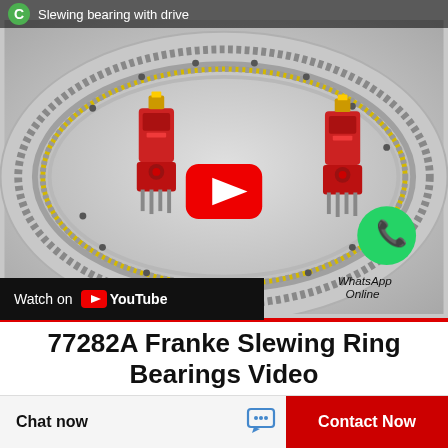[Figure (screenshot): YouTube video thumbnail showing a 3D rendering of a slewing ring bearing (Franke 77282A) with gear teeth, yellow trim, and two red servo motor drives. A green channel icon and 'Slewing bearing with drive' text appear at top. A red YouTube play button is centered. A WhatsApp Online badge with green icon appears at lower right. A 'Watch on YouTube' bar is at the bottom left of the video.]
77282A Franke Slewing Ring Bearings Video
Chat now
Contact Now